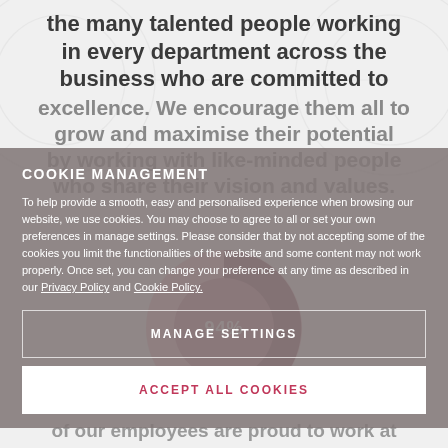the many talented people working in every department across the business who are committed to excellence. We encourage them all to grow and maximise their potential by working with like-minded people who share their vision and values.
COOKIE MANAGEMENT
To help provide a smooth, easy and personalised experience when browsing our website, we use cookies. You may choose to agree to all or set your own preferences in manage settings. Please consider that by not accepting some of the cookies you limit the functionalities of the website and some content may not work properly. Once set, you can change your preference at any time as described in our Privacy Policy and Cookie Policy.
[Figure (donut-chart): Donut/circle graphic showing 94% with dark rose and light pink segments]
MANAGE SETTINGS
ACCEPT ALL COOKIES
of our employees are proud to work at